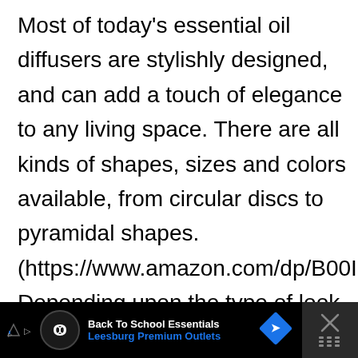Most of today's essential oil diffusers are stylishly designed, and can add a touch of elegance to any living space. There are all kinds of shapes, sizes and colors available, from circular discs to pyramidal shapes. (https://www.amazon.com/dp/B00I9SKESS) Depending upon the type of look you're shooting for in your home or office, you should have no problem finding an aromatherapy diffuser that has a design that fits the aesthetics of the space. Fancy a more natural looking dome-shaped diffuser.
[Figure (screenshot): Advertisement banner: Back To School Essentials - Leesburg Premium Outlets, with navigation icons on black background]